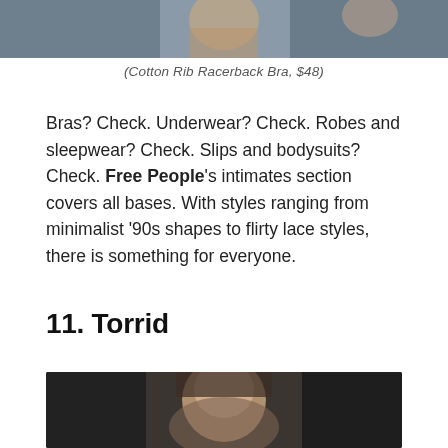[Figure (photo): Cropped photo showing a person's torso/arm against a grey-blue background, partial view of a bra product]
(Cotton Rib Racerback Bra, $48)
Bras? Check. Underwear? Check. Robes and sleepwear? Check. Slips and bodysuits? Check. Free People's intimates section covers all bases. With styles ranging from minimalist '90s shapes to flirty lace styles, there is something for everyone.
11. Torrid
[Figure (photo): Portrait photo of a woman with dark hair against a dark grey background]